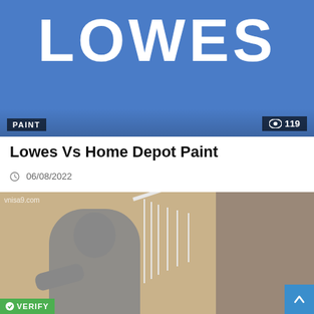[Figure (photo): Lowe's store logo banner in blue with white text reading LOWES, with a PAINT category badge and 119 views counter overlaid at the bottom]
Lowes Vs Home Depot Paint
06/08/2022
[Figure (photo): Person in gray hoodie crouching on porch steps of a house, holding a package, with white porch railing visible. Watermark reads vnisa9.com. VERIFY badge visible at bottom left.]